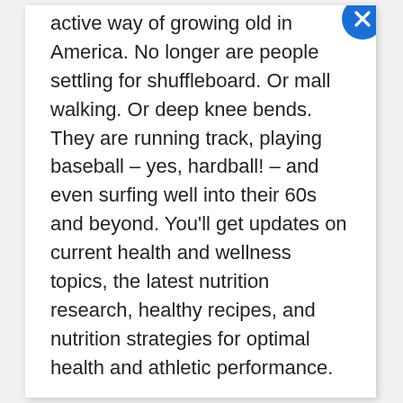active way of growing old in America. No longer are people settling for shuffleboard. Or mall walking. Or deep knee bends. They are running track, playing baseball – yes, hardball! – and even surfing well into their 60s and beyond. You'll get updates on current health and wellness topics, the latest nutrition research, healthy recipes, and nutrition strategies for optimal health and athletic performance.
Motorcycle Safety Tips (.pdf) [Not currently available—being updated for sale.] The United Spinal Association has a publication about